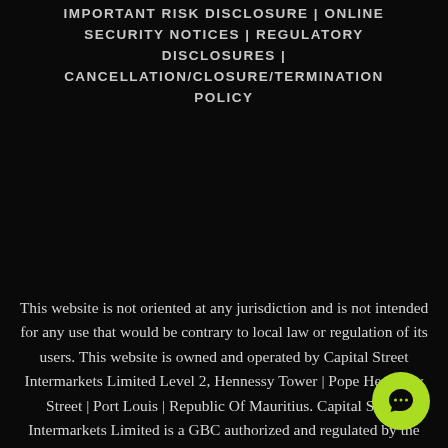IMPORTANT RISK DISCLOSURE | ONLINE SECURITY NOTICES | REGULATORY DISCLOSURES | CANCELLATION/CLOSURE/TERMINATION POLICY
This website is not oriented at any jurisdiction and is not intended for any use that would be contrary to local law or regulation of its users. This website is owned and operated by Capital Street Intermarkets Limited Level 2, Hennessy Tower | Pope Hennessy Street | Port Louis | Republic Of Mauritius. Capital Street Intermarkets Limited is a GBC authorized and regulated by the Financial Services Commission(FSC) of
[Figure (other): Green circular chat bubble icon in bottom-right corner]